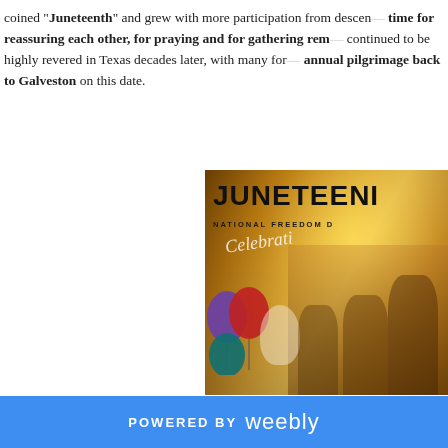coined "Juneteenth" and grew with more participation from descendants. It became a time for reassuring each other, for praying and for gathering resources. The event continued to be highly revered in Texas decades later, with many former slaves making an annual pilgrimage back to Galveston on this date.
[Figure (photo): Juneteenth National Freedom Day Celebration promotional image with colorful balloons, family photo, and golden/warm toned background with text overlay]
POWERED BY weebly